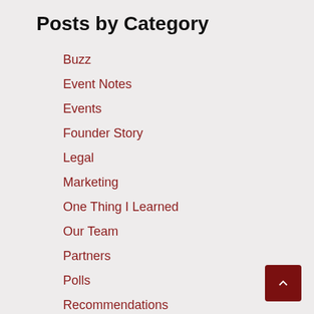Posts by Category
Buzz
Event Notes
Events
Founder Story
Legal
Marketing
One Thing I Learned
Our Team
Partners
Polls
Recommendations